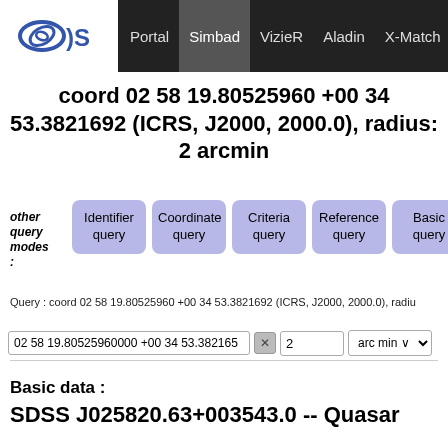Portal | Simbad | VizieR | Aladin | X-Match | Othe
coord 02 58 19.80525960 +00 34 53.3821692 (ICRS, J2000, 2000.0), radius: 2 arcmin
other query modes:
Identifier query | Coordinate query | Criteria query | Reference query | Basic query
Query : coord 02 58 19.80525960 +00 34 53.3821692 (ICRS, J2000, 2000.0), radiu
02 58 19.80525960000 +00 34 53.382165 × 2 arc min
Basic data :
SDSS J025820.63+003543.0 -- Quasar